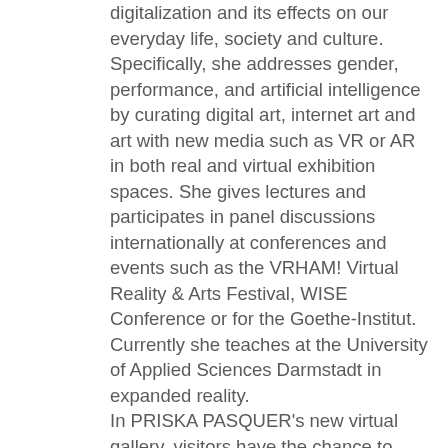digitalization and its effects on our everyday life, society and culture. Specifically, she addresses gender, performance, and artificial intelligence by curating digital art, internet art and art with new media such as VR or AR in both real and virtual exhibition spaces. She gives lectures and participates in panel discussions internationally at conferences and events such as the VRHAM! Virtual Reality & Arts Festival, WISE Conference or for the Goethe-Institut. Currently she teaches at the University of Applied Sciences Darmstadt in expanded reality. In PRISKA PASQUER's new virtual gallery, visitors have the chance to attend exhibitions and participate in events such as artist talks. This virtual space is not only a place for exchange, but also for new curatorial formats. The launch of the virtual gallery is marked by the exhibition series ONE TO ONE in collaboration with the curatorial platform peer to space. In each exhibition, a curator from the platform will collaborate